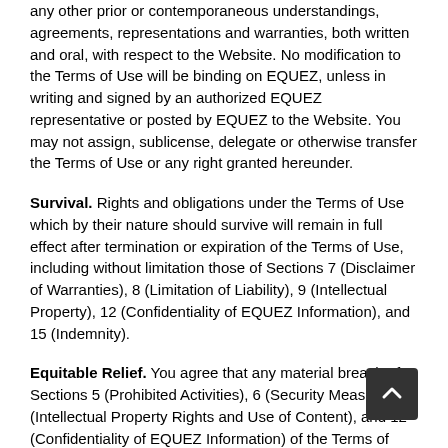any other prior or contemporaneous understandings, agreements, representations and warranties, both written and oral, with respect to the Website. No modification to the Terms of Use will be binding on EQUEZ, unless in writing and signed by an authorized EQUEZ representative or posted by EQUEZ to the Website. You may not assign, sublicense, delegate or otherwise transfer the Terms of Use or any right granted hereunder.
Survival. Rights and obligations under the Terms of Use which by their nature should survive will remain in full effect after termination or expiration of the Terms of Use, including without limitation those of Sections 7 (Disclaimer of Warranties), 8 (Limitation of Liability), 9 (Intellectual Property), 12 (Confidentiality of EQUEZ Information), and 15 (Indemnity).
Equitable Relief. You agree that any material breach of Sections 5 (Prohibited Activities), 6 (Security Measures), 9 (Intellectual Property Rights and Use of Content), and 12 (Confidentiality of EQUEZ Information) of the Terms of Use will result in irreparable harm to EQUEZ for which Damages would be an inadequate remedy and, therefore, in addition to its rights and remedies